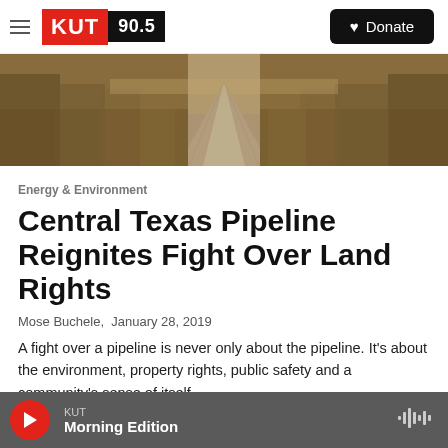KUT 90.5 | Donate
[Figure (photo): A dirt road stretching into the distance, flanked by dry grassy fields and sparse trees, with an overcast sky. Sepia/brown toned landscape photograph.]
Energy & Environment
Central Texas Pipeline Reignites Fight Over Land Rights
Mose Buchele,  January 28, 2019
A fight over a pipeline is never only about the pipeline. It's about the environment, property rights, public safety and a community's sense of itself....
KUT Morning Edition